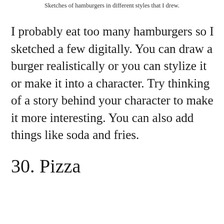Sketches of hamburgers in different styles that I drew.
I probably eat too many hamburgers so I sketched a few digitally. You can draw a burger realistically or you can stylize it or make it into a character. Try thinking of a story behind your character to make it more interesting. You can also add things like soda and fries.
30. Pizza